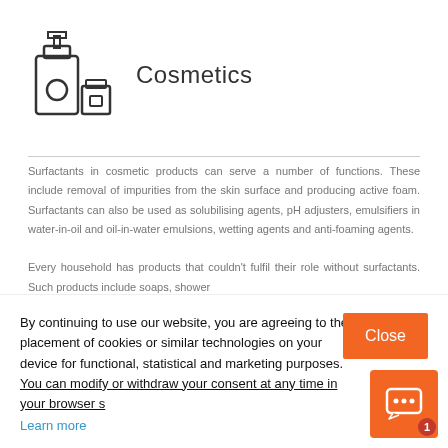[Figure (illustration): Line art icon of cosmetics bottles and containers]
Cosmetics
Surfactants in cosmetic products can serve a number of functions. These include removal of impurities from the skin surface and producing active foam. Surfactants can also be used as solubilising agents, pH adjusters, emulsifiers in water-in-oil and oil-in-water emulsions, wetting agents and anti-foaming agents.

Every household has products that couldn't fulfil their role without surfactants. Such products include soaps, shower…
By continuing to use our website, you are agreeing to the placement of cookies or similar technologies on your device for functional, statistical and marketing purposes. You can modify or withdraw your consent at any time in your browser s
Learn more